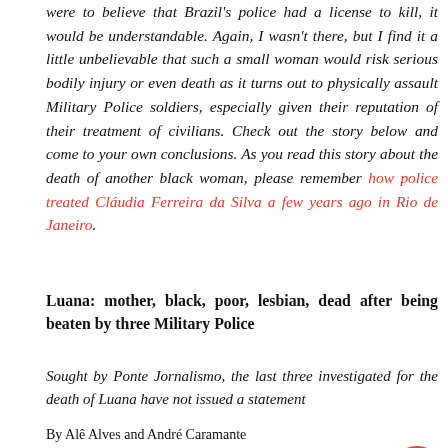were to believe that Brazil's police had a license to kill, it would be understandable. Again, I wasn't there, but I find it a little unbelievable that such a small woman would risk serious bodily injury or even death as it turns out to physically assault Military Police soldiers, especially given their reputation of their treatment of civilians. Check out the story below and come to your own conclusions. As you read this story about the death of another black woman, please remember how police treated Cláudia Ferreira da Silva a few years ago in Rio de Janeiro.
Luana: mother, black, poor, lesbian, dead after being beaten by three Military Police
Sought by Ponte Jornalismo, the last three investigated for the death of Luana have not issued a statement
By Alê Alves and André Caramante
PLEASE SUPPORT THE CAUSE WITH A SMALL DONATION